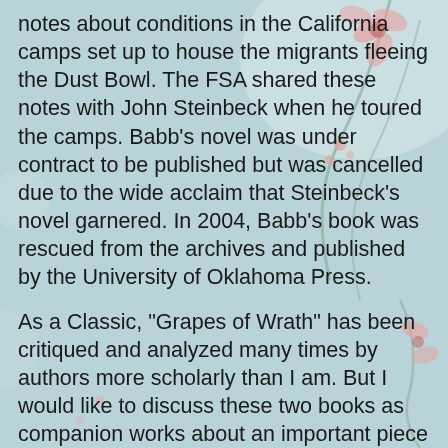notes about conditions in the California camps set up to house the migrants fleeing the Dust Bowl. The FSA shared these notes with John Steinbeck when he toured the camps. Babb's novel was under contract to be published but was cancelled due to the wide acclaim that Steinbeck's novel garnered. In 2004, Babb's book was rescued from the archives and published by the University of Oklahoma Press.
As a Classic, "Grapes of Wrath" has been critiqued and analyzed many times by authors more scholarly than I am. But I would like to discuss these two books as companion works about an important piece of American history which seems relevant to the world of today.
For me "The Grapes of Wrath" was a slow read, because it was so sad. I liked the book enormously and I can understand that it is great writing, but that's how it made me feel: sad for the individual members of the Joad family, sad for the thousands of people displaced during the Dust Bowl, sad for an America that let this happen. And the characters, no, the people have stayed with me. Critics may call them wooden or cardboard, but as a reader they were very alive to me, each with their own characteristic way of talking and